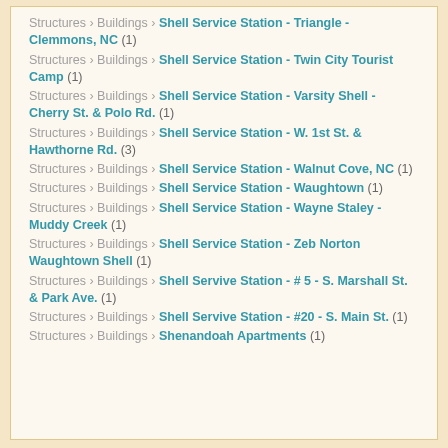Structures › Buildings › Shell Service Station - Triangle - Clemmons, NC (1)
Structures › Buildings › Shell Service Station - Twin City Tourist Camp (1)
Structures › Buildings › Shell Service Station - Varsity Shell - Cherry St. & Polo Rd. (1)
Structures › Buildings › Shell Service Station - W. 1st St. & Hawthorne Rd. (3)
Structures › Buildings › Shell Service Station - Walnut Cove, NC (1)
Structures › Buildings › Shell Service Station - Waughtown (1)
Structures › Buildings › Shell Service Station - Wayne Staley - Muddy Creek (1)
Structures › Buildings › Shell Service Station - Zeb Norton Waughtown Shell (1)
Structures › Buildings › Shell Servive Station - # 5 - S. Marshall St. & Park Ave. (1)
Structures › Buildings › Shell Servive Station - #20 - S. Main St. (1)
Structures › Buildings › Shenandoah Apartments (1)